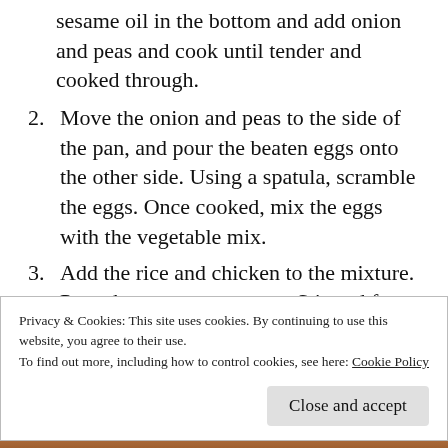sesame oil in the bottom and add onion and peas and cook until tender and cooked through.
2. Move the onion and peas to the side of the pan, and pour the beaten eggs onto the other side. Using a spatula, scramble the eggs. Once cooked, mix the eggs with the vegetable mix.
3. Add the rice and chicken to the mixture. Pour the soy sauce on top. Stir and fry the rice and veggie mixture until heated through. Enjoy!
Privacy & Cookies: This site uses cookies. By continuing to use this website, you agree to their use.
To find out more, including how to control cookies, see here: Cookie Policy
[Figure (photo): Photo strip at bottom of page, partially visible, showing a food image]